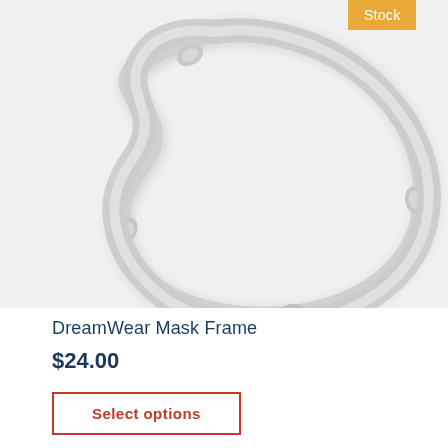[Figure (photo): A DreamWear CPAP mask frame — a lightweight, curved white plastic headframe shown on a light gray background. The frame forms an open circular/arc shape with small connector nubs at the ends. An orange badge reading 'Stock' appears in the upper area.]
DreamWear Mask Frame
$24.00
Select options